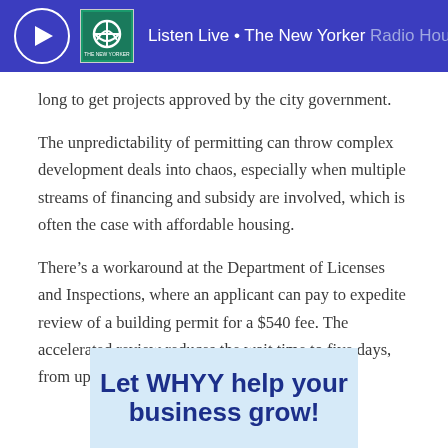Listen Live • The New Yorker Radio Hour
long to get projects approved by the city government.
The unpredictability of permitting can throw complex development deals into chaos, especially when multiple streams of financing and subsidy are involved, which is often the case with affordable housing.
There's a workaround at the Department of Licenses and Inspections, where an applicant can pay to expedite review of a building permit for a $540 fee. The accelerated review reduces the wait time to five days, from up to 30 days.
[Figure (infographic): Advertisement banner with light blue background and bold navy text reading 'Let WHYY help your business grow!']